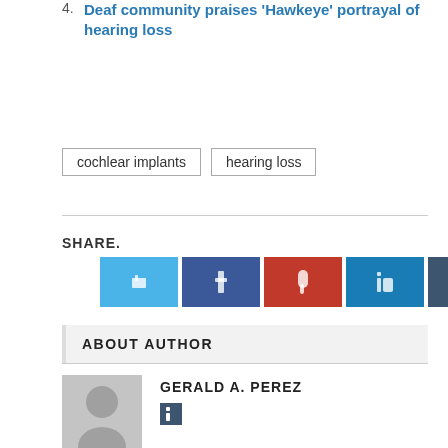4. Deaf community praises 'Hawkeye' portrayal of hearing loss
cochlear implants   hearing loss
SHARE.
[Figure (infographic): Six social share buttons: Twitter (light blue), Facebook (dark blue), Pinterest (red), LinkedIn (teal blue), Tumblr (slate gray), More (dark navy) each with a small icon]
ABOUT AUTHOR
[Figure (photo): Default gray user avatar silhouette placeholder image]
GERALD A. PEREZ